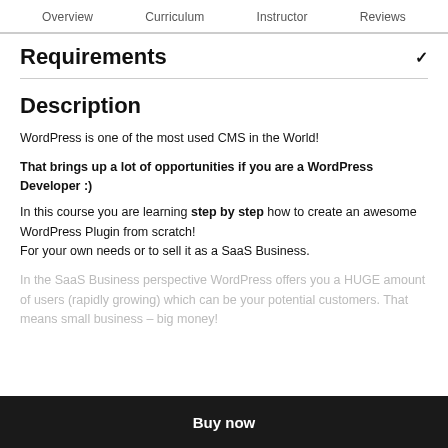Overview  Curriculum  Instructor  Reviews
Requirements
Description
WordPress is one of the most used CMS in the World!
That brings up a lot of opportunities if you are a WordPress Developer :)
In this course you are learning step by step how to create an awesome WordPress Plugin from scratch!
For your own needs or to sell it as a SaaS Business.
In the SaaS Business perspective WordPress offers you a HUGE amount of users (rapidly growing) which can be your potential customers. That means small business – big money!
Buy now